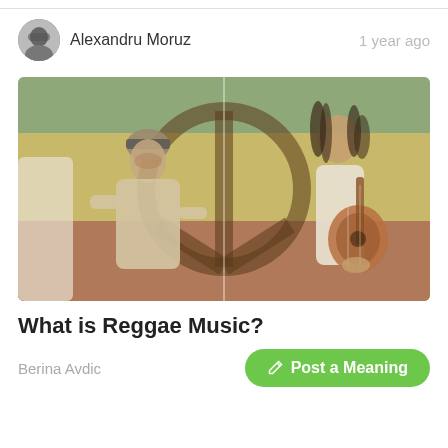Alexandru Moruz
1 year ago
[Figure (photo): Two men standing in front of a peace symbol painted on a wall with Rastafarian colors (green, yellow, red). The man on the left wears a hat and light shirt; the man on the right has dreadlocks and plays an acoustic guitar. Reggae music themed illustration.]
What is Reggae Music?
Berina Avdic
Post a Meaning